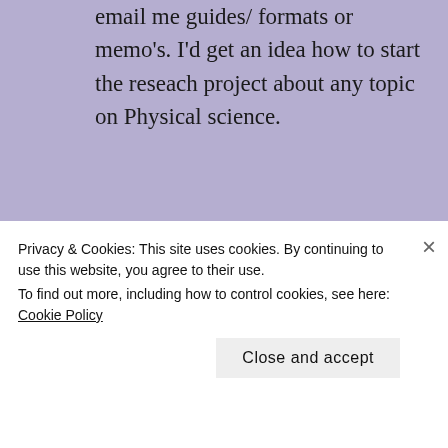email me guides/ formats or memo's. I'd get an idea how to start the reseach project about any topic on Physical science.
★ Like
REPLY
CHIPA MAIMELA
MAY 16, 2016 AT 8:51 PM
Privacy & Cookies: This site uses cookies. By continuing to use this website, you agree to their use.
To find out more, including how to control cookies, see here: Cookie Policy
Close and accept